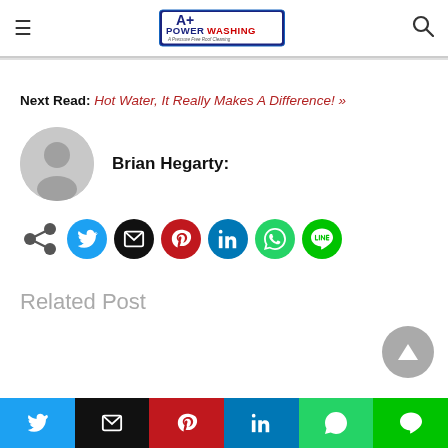A+ Powerwashing - Pressure Free Roof Cleaning
Next Read: Hot Water, It Really Makes A Difference! »
Brian Hegarty:
[Figure (infographic): Social share icons: share (grey), Twitter (blue), Email (black), Pinterest (dark red), LinkedIn (teal/blue), WhatsApp (green), LINE (green)]
Related Post
[Figure (infographic): Bottom share bar with Twitter, Email, Pinterest, LinkedIn, WhatsApp, LINE buttons]